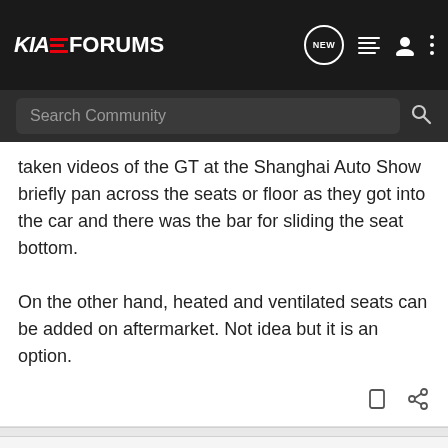KIA EV FORUMS
taken videos of the GT at the Shanghai Auto Show briefly pan across the seats or floor as they got into the car and there was the bar for sliding the seat bottom.

On the other hand, heated and ventilated seats can be added on aftermarket. Not idea but it is an option.
swaq · Registered
Joined Apr 17, 2021 · 22 Posts
#3 · Jun 15, 2021
Lack of ventilated seats on the bucket seats is basically a deal